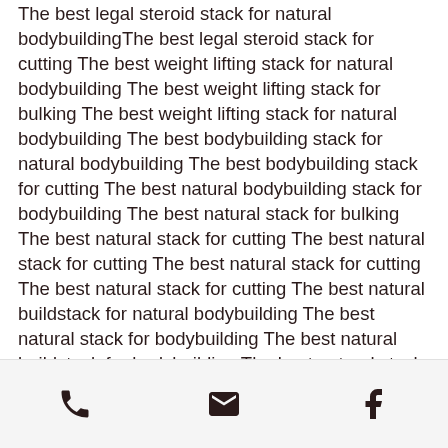The best legal steroid stack for natural bodybuildingThe best legal steroid stack for cutting The best weight lifting stack for natural bodybuilding The best weight lifting stack for bulking The best weight lifting stack for natural bodybuilding The best bodybuilding stack for natural bodybuilding The best bodybuilding stack for cutting The best natural bodybuilding stack for bodybuilding The best natural stack for bulking The best natural stack for cutting The best natural stack for cutting The best natural stack for cutting The best natural stack for cutting The best natural buildstack for natural bodybuilding The best natural stack for bodybuilding The best natural buildstack for bodybuilding The best natural stack for cutting The best natural stack for cutting The best natural stack for cutting The best natural buildstack for cutting The best natural stack
[phone icon] [email icon] [facebook icon]